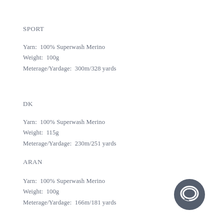SPORT
Yarn:  100% Superwash Merino
Weight:  100g
Meterage/Yardage:  300m/328 yards
DK
Yarn:  100% Superwash Merino
Weight:  115g
Meterage/Yardage:  230m/251 yards
ARAN
Yarn:  100% Superwash Merino
Weight:  100g
Meterage/Yardage:  166m/181 yards
[Figure (logo): Dark gray circular chat bubble icon in bottom right corner]